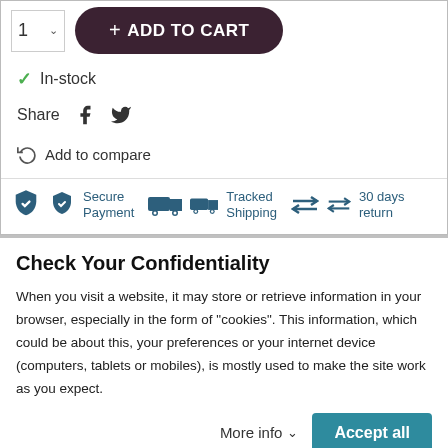[Figure (screenshot): Product quantity selector box showing '1' with dropdown arrow]
[Figure (screenshot): Add to Cart button in dark maroon with '+' prefix]
✓ In-stock
Share  f  🐦
↺ Add to compare
[Figure (infographic): Trust badges row: Secure Payment (shield icon), Tracked Shipping (truck icon), 30 days return (arrows icon)]
Check Your Confidentiality
When you visit a website, it may store or retrieve information in your browser, especially in the form of "cookies". This information, which could be about this, your preferences or your internet device (computers, tablets or mobiles), is mostly used to make the site work as you expect.
More info ∨
Accept all